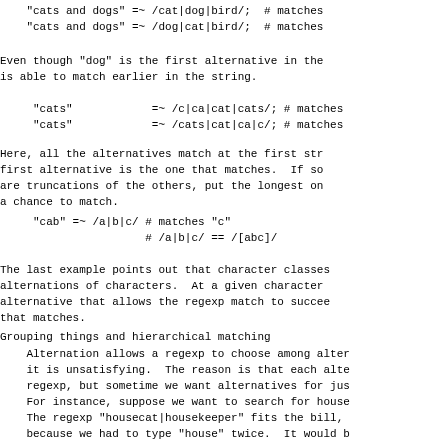"cats and dogs" =~ /cat|dog|bird/;  # matches
"cats and dogs" =~ /dog|cat|bird/;  # matches
Even though "dog" is the first alternative in the
is able to match earlier in the string.
"cats"            =~ /c|ca|cat|cats/; # matches
"cats"            =~ /cats|cat|ca|c/; # matches
Here, all the alternatives match at the first str
first alternative is the one that matches.  If so
are truncations of the others, put the longest on
a chance to match.
"cab" =~ /a|b|c/ # matches "c"
                 # /a|b|c/ == /[abc]/
The last example points out that character classes
alternations of characters.  At a given character
alternative that allows the regexp match to succee
that matches.
Grouping things and hierarchical matching
Alternation allows a regexp to choose among altern
it is unsatisfying.  The reason is that each alter
regexp, but sometime we want alternatives for just
For instance, suppose we want to search for housed
The regexp "housecat|housekeeper" fits the bill, b
because we had to type "house" twice.  It would be